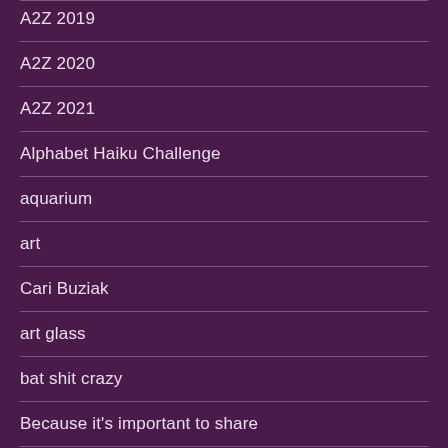A2Z 2019
A2Z 2020
A2Z 2021
Alphabet Haiku Challenge
aquarium
art
Cari Buziak
art glass
bat shit crazy
Because it's important to share
Things that make you go hm?